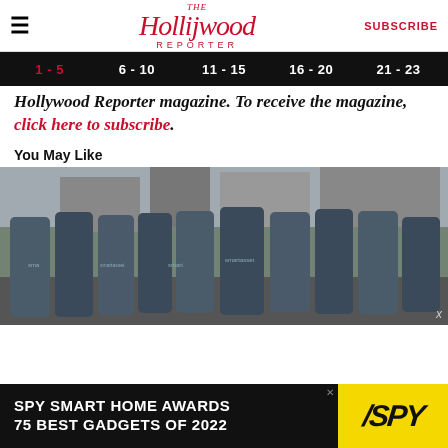The Hollywood Reporter | SUBSCRIBE
1 - 5 | 6 - 10 | 11 - 15 | 16 - 20 | 21 - 23
Hollywood Reporter magazine. To receive the magazine, click here to subscribe.
You May Like
[Figure (photo): Group photo of people wearing SmartAsset branded blue t-shirts standing on a city street]
[Figure (infographic): Advertisement: SPY SMART HOME AWARDS 75 BEST GADGETS OF 2022 with SPY logo on yellow background]